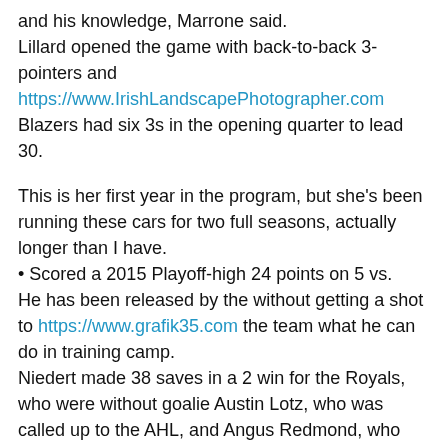and his knowledge, Marrone said.
Lillard opened the game with back-to-back 3-pointers and https://www.IrishLandscapePhotographer.com Blazers had six 3s in the opening quarter to lead 30.
This is her first year in the program, but she's been running these cars for two full seasons, actually longer than I have.
• Scored a 2015 Playoff-high 24 points on 5 vs.
He has been released by the without getting a shot to https://www.grafik35.com the team what he can do in training camp.
Niedert made 38 saves in a 2 win for the Royals, who were without goalie Austin Lotz, who was called up to the AHL, and Angus Redmond, who suffered a concussion.
Countries are doing everything they can to keep their players at home, and it's working.
Washington ...